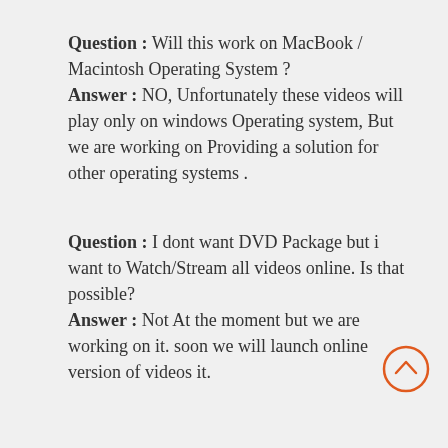Question : Will this work on MacBook / Macintosh Operating System ? Answer : NO, Unfortunately these videos will play only on windows Operating system, But we are working on Providing a solution for other operating systems .
Question : I dont want DVD Package but i want to Watch/Stream all videos online. Is that possible? Answer : Not At the moment but we are working on it. soon we will launch online version of videos it.